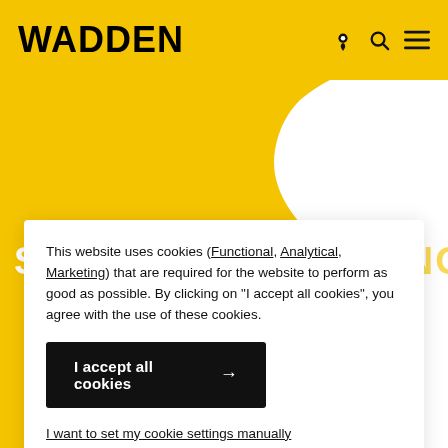WADDEN
SANDEPARK XL B... (BUNGALOW)
This website uses cookies (Functional, Analytical, Marketing) that are required for the website to perform as good as possible. By clicking on "I accept all cookies", you agree with the use of these cookies.
I accept all cookies →
I want to set my cookie settings manually